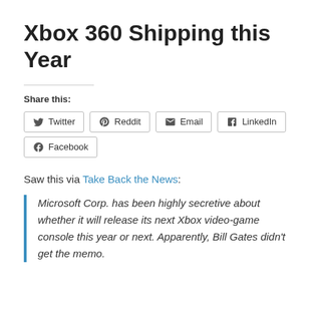Xbox 360 Shipping this Year
Share this:
Saw this via Take Back the News:
Microsoft Corp. has been highly secretive about whether it will release its next Xbox video-game console this year or next. Apparently, Bill Gates didn't get the memo.